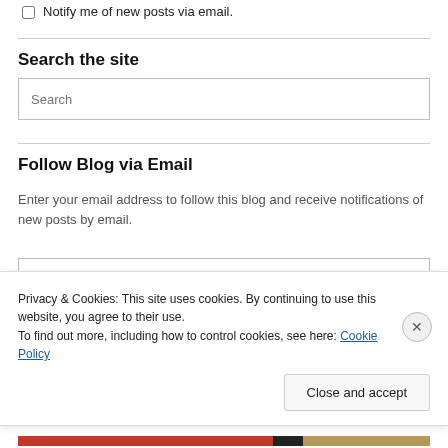Notify me of new posts via email.
Search the site
Search
Follow Blog via Email
Enter your email address to follow this blog and receive notifications of new posts by email.
Privacy & Cookies: This site uses cookies. By continuing to use this website, you agree to their use.
To find out more, including how to control cookies, see here: Cookie Policy
Close and accept